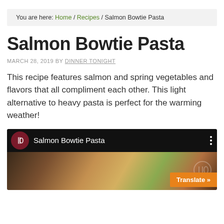You are here: Home / Recipes / Salmon Bowtie Pasta
Salmon Bowtie Pasta
MARCH 28, 2019 BY DINNER TONIGHT
This recipe features salmon and spring vegetables and flavors that all compliment each other. This light alternative to heavy pasta is perfect for the warming weather!
[Figure (screenshot): Video thumbnail for Salmon Bowtie Pasta recipe with dark header showing channel icon and title, and food image below with a Translate button overlay]